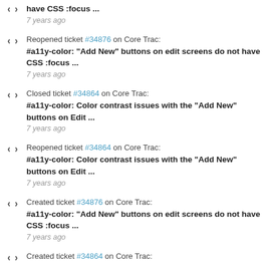have CSS :focus ...
7 years ago
Reopened ticket #34876 on Core Trac:
#a11y-color: "Add New" buttons on edit screens do not have CSS :focus ...
7 years ago
Closed ticket #34864 on Core Trac:
#a11y-color: Color contrast issues with the "Add New" buttons on Edit ...
7 years ago
Reopened ticket #34864 on Core Trac:
#a11y-color: Color contrast issues with the "Add New" buttons on Edit ...
7 years ago
Created ticket #34876 on Core Trac:
#a11y-color: "Add New" buttons on edit screens do not have CSS :focus ...
7 years ago
Created ticket #34864 on Core Trac: